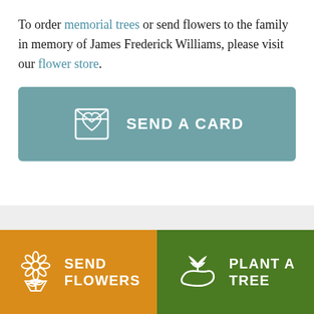To order memorial trees or send flowers to the family in memory of James Frederick Williams, please visit our flower store.
[Figure (other): Teal button with a greeting card icon and text SEND A CARD]
[Figure (other): Orange button with flower bouquet icon and text SEND FLOWERS, and green button with plant/tree icon and text PLANT A TREE]